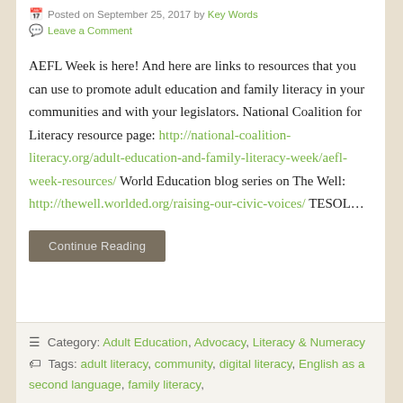Posted on September 25, 2017 by Key Words
Leave a Comment
AEFL Week is here! And here are links to resources that you can use to promote adult education and family literacy in your communities and with your legislators. National Coalition for Literacy resource page: http://national-coalition-literacy.org/adult-education-and-family-literacy-week/aefl-week-resources/ World Education blog series on The Well: http://thewell.worlded.org/raising-our-civic-voices/ TESOL…
Continue Reading
Category: Adult Education, Advocacy, Literacy & Numeracy   Tags: adult literacy, community, digital literacy, English as a second language, family literacy,